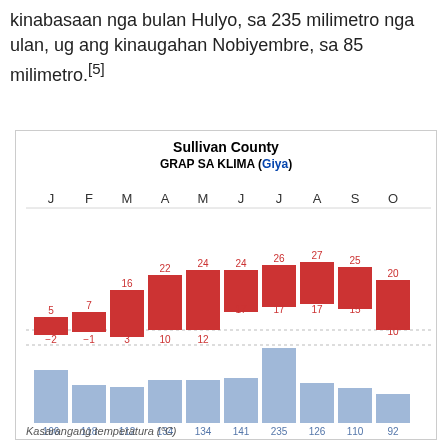kinabasaan nga bulan Hulyo, sa 235 milimetro nga ulan, ug ang kinaugahan Nobiyembre, sa 85 milimetro.[5]
[Figure (bar-chart): Sullivan County]
Kasarangang temperatura (°C)